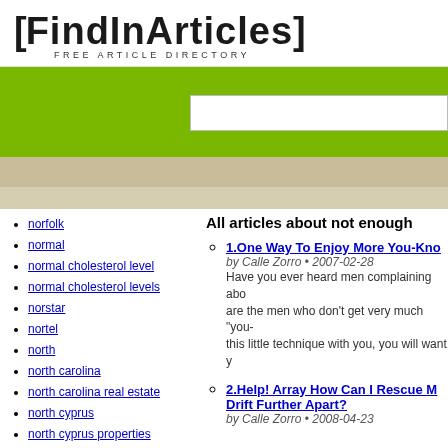[FindInArticles] FREE ARTICLE DIRECTORY
[Figure (other): Green search bar area with white search input box]
norfolk
normal
normal cholesterol level
normal cholesterol levels
norstar
nortel
north
north carolina
north carolina real estate
north cyprus
north cyprus properties
northern
northern ireland
northern spain
All articles about not enough
1. One Way To Enjoy More You-Kno... by Calle Zorro - 2007-02-28 Have you ever heard men complaining abo... are the men who don't get very much "you-... this little technique with you, you will want y...
2. Help! Array How Can I Rescue M... Drift Further Apart? by Calle Zorro - 2008-04-23